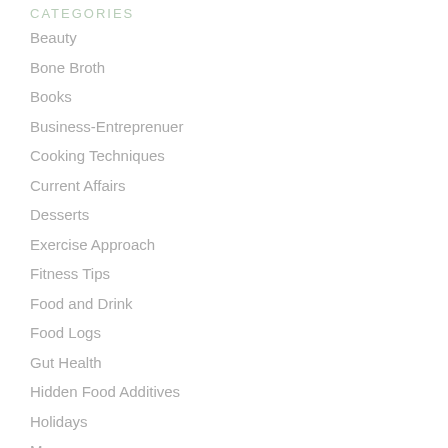CATEGORIES
Beauty
Bone Broth
Books
Business-Entreprenuer
Cooking Techniques
Current Affairs
Desserts
Exercise Approach
Fitness Tips
Food and Drink
Food Logs
Gut Health
Hidden Food Additives
Holidays
Menu